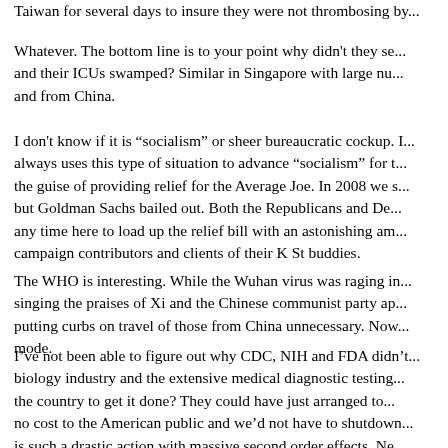Taiwan for several days to insure they were not thrombosing by...
Whatever. The bottom line is to your point why didn't they se... and their ICUs swamped? Similar in Singapore with large nu... and from China.
I don't know if it is “socialism” or sheer bureaucratic cockup. I... always uses this type of situation to advance “socialism” for t... the guise of providing relief for the Average Joe. In 2008 we s... but Goldman Sachs bailed out. Both the Republicans and De... any time here to load up the relief bill with an astonishing am... campaign contributors and clients of their K St buddies.
The WHO is interesting. While the Wuhan virus was raging in... singing the praises of Xi and the Chinese communist party ap... putting curbs on travel of those from China unnecessary. Now... mode.
I've not been able to figure out why CDC, NIH and FDA didn't... biology industry and the extensive medical diagnostic testing... the country to get it done? They could have just arranged to... no cost to the American public and we'd not have to shutdown... is such a drastic action with massive second order effects. Ne... governments forced the shutdown of the entire economy.